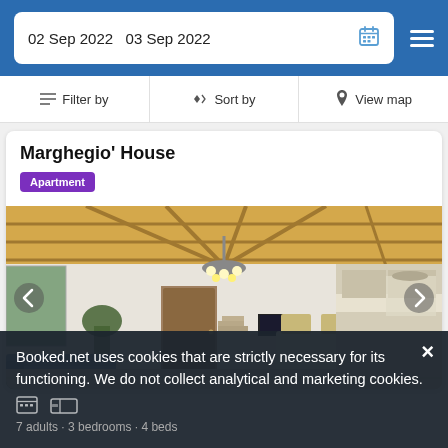02 Sep 2022  03 Sep 2022
Filter by  Sort by  View map
Marghegio' House
Apartment
[Figure (photo): Interior of Marghegio' House apartment showing living area with blue sofa, dining table and chairs, kitchen with white cabinetry and range hood, wooden beam ceiling, and a chandelier.]
Booked.net uses cookies that are strictly necessary for its functioning. We do not collect analytical and marketing cookies.
7 adults · 3 bedrooms · 4 beds